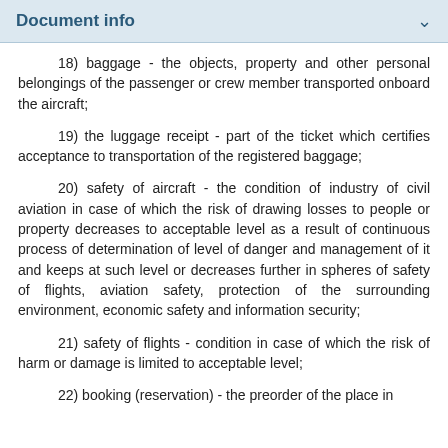Document info
18) baggage - the objects, property and other personal belongings of the passenger or crew member transported onboard the aircraft;
19) the luggage receipt - part of the ticket which certifies acceptance to transportation of the registered baggage;
20) safety of aircraft - the condition of industry of civil aviation in case of which the risk of drawing losses to people or property decreases to acceptable level as a result of continuous process of determination of level of danger and management of it and keeps at such level or decreases further in spheres of safety of flights, aviation safety, protection of the surrounding environment, economic safety and information security;
21) safety of flights - condition in case of which the risk of harm or damage is limited to acceptable level;
22) booking (reservation) - the preorder of the place in